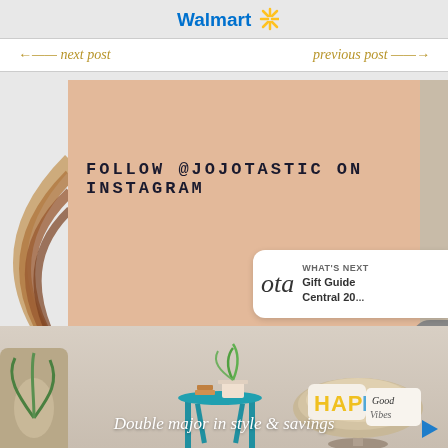Walmart
← next post    previous post →
[Figure (screenshot): Instagram post with peach/salmon background showing text FOLLOW @JOJOTASTIC ON INSTAGRAM with decorative rainbow arc on left side, like and share buttons on right, OTA widget showing WHAT'S NEXT Gift Guide Central 20...]
FOLLOW @JOJOTASTIC ON INSTAGRAM
[Figure (photo): Bottom strip showing home decor products: a teal side table with plant, a papasan chair with decorative pillows reading HAPPY and Good Vibes, and a plant in wicker basket]
Double major in style & savings